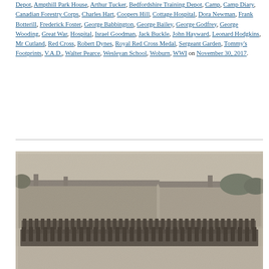Depot, Ampthill Park House, Arthur Tucker, Bedfordshire Training Depot, Camp, Camp Diary, Canadian Forestry Corps, Charles Hart, Coopers Hill, Cottage Hospital, Dora Newman, Frank Botterill, Frederick Foster, George Babbington, George Bailey, George Godfrey, George Wooding, Great War, Hospital, Israel Goodman, Jack Buckle, John Hayward, Leonard Hodgkins, Mr Cutland, Red Cross, Robert Dynes, Royal Red Cross Medal, Sergeant Garden, Tommy's Footprints, V.A.D., Walter Pearce, Wesleyan School, Woburn, WWI on November 30, 2017.
[Figure (photo): Black and white historical photograph showing rows of soldiers standing at attention in front of a long low building, likely a military barracks or training depot. The image appears to be from WWI era.]